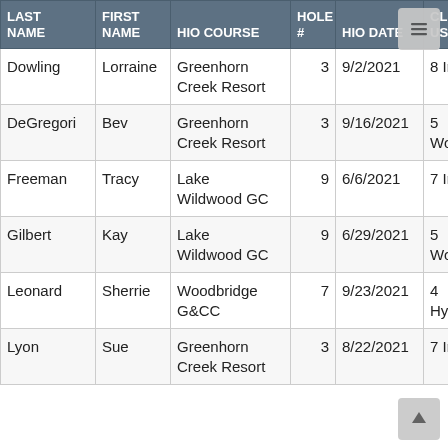| LAST NAME | FIRST NAME | HIO COURSE | HOLE # | HIO DATE | CLUB USED |
| --- | --- | --- | --- | --- | --- |
| Dowling | Lorraine | Greenhorn Creek Resort | 3 | 9/2/2021 | 8 Iro… |
| DeGregori | Bev | Greenhorn Creek Resort | 3 | 9/16/2021 | 5 Woo… |
| Freeman | Tracy | Lake Wildwood GC | 9 | 6/6/2021 | 7 Iro… |
| Gilbert | Kay | Lake Wildwood GC | 9 | 6/29/2021 | 5 Woo… |
| Leonard | Sherrie | Woodbridge G&CC | 7 | 9/23/2021 | 4 Hybr… |
| Lyon | Sue | Greenhorn Creek Resort | 3 | 8/22/2021 | 7 Iro… |